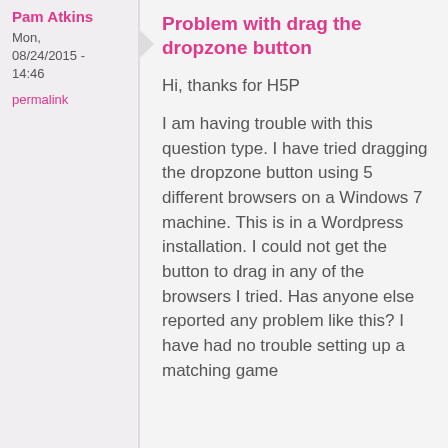Pam Atkins
Mon, 08/24/2015 - 14:46
permalink
Problem with drag the dropzone button
Hi, thanks for H5P
I am having trouble with this question type. I have tried dragging the dropzone button using 5 different browsers on a Windows 7 machine. This is in a Wordpress installation. I could not get the button to drag in any of the browsers I tried. Has anyone else reported any problem like this? I have had no trouble setting up a matching game